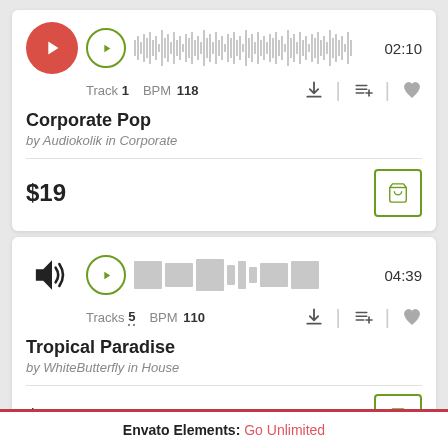[Figure (screenshot): Music track card 1: Corporate Pop by Audiokolik in Corporate. Track 1, BPM 118, duration 02:10, price $19.]
[Figure (screenshot): Music track card 2: Tropical Paradise by WhiteButterfly in House. Tracks 5, BPM 110, duration 04:39, price $29.]
Envato Elements: Go Unlimited